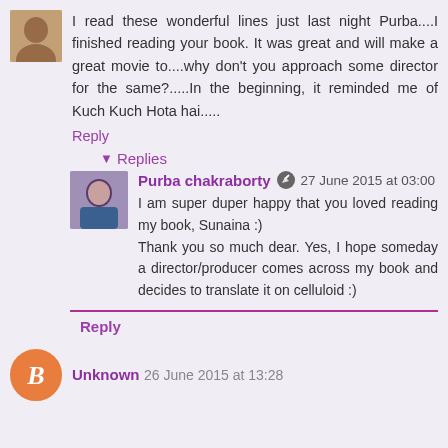I read these wonderful lines just last night Purba....I finished reading your book. It was great and will make a great movie to....why don't you approach some director for the same?.....In the beginning, it reminded me of Kuch Kuch Hota hai.....
Reply
▾ Replies
Purba chakraborty 27 June 2015 at 03:00
I am super duper happy that you loved reading my book, Sunaina :)
Thank you so much dear. Yes, I hope someday a director/producer comes across my book and decides to translate it on celluloid :)
Reply
Unknown 26 June 2015 at 13:28